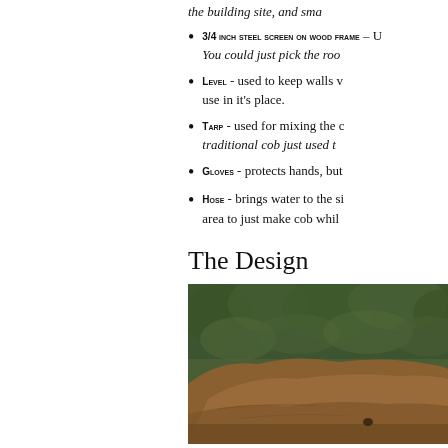the building site, and sma…
3/4 inch steel screen on wood frame - U… You could just pick the roo…
Level - used to keep walls v… use in it's place.
Tarp - used for mixing the c… traditional cob just used t…
Gloves - protects hands, but …
Hose - brings water to the si… area to just make cob whil…
The Design
[Figure (photo): Outdoor photo showing a cob structure or mound of earth/clay material with green trees/foliage in the background]